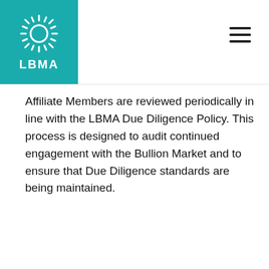[Figure (logo): LBMA logo: teal square with white sun/gear icon above the text LBMA]
Affiliate Members are reviewed periodically in line with the LBMA Due Diligence Policy. This process is designed to audit continued engagement with the Bullion Market and to ensure that Due Diligence standards are being maintained.
How to Join
This site uses cookies to store information on your computer.
Read our cookie policy
I'M FINE WITH THIS